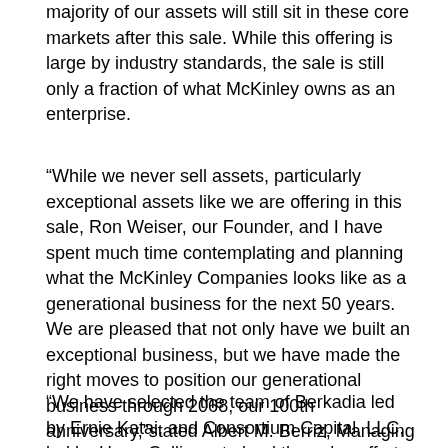majority of our assets will still sit in these core markets after this sale. While this offering is large by industry standards, the sale is still only a fraction of what McKinley owns as an enterprise.
“While we never sell assets, particularly exceptional assets like we are offering in this sale, Ron Weiser, our Founder, and I have spent much time contemplating and planning what the McKinley Companies looks like as a generational business for the next 50 years. We are pleased that not only have we built an exceptional business, but we have made the right moves to position our generational business through 2068, our 100th anniversary,”stated Albert M. Berriz, Managing Member, Chief Executive Officer, Board Member and Co-Owner of McKinley.
“We have selected the team of Berkadia led by Ernie Katai, and Consortium Capital, LLC, led by Harry Collison, to lead the sales effort. We have deep roots with both organizations